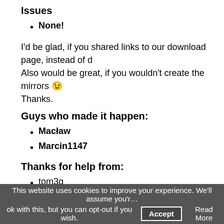Issues
None!
I'd be glad, if you shared links to our download page, instead of d… Also would be great, if you wouldn't create the mirrors 😉 Thanks.
Guys who made it happen:
Macław
Marcin1147
Thanks for help from:
tom3q
lupohirp
Before you'll ask for help, check our FAQ. Maybe answer is a…
If you want to say thanks by donating us using PayPal, feel f…
If somehow you'll find a bug, use our bugtracker if you want…
This website uses cookies to improve your experience. We'll assume you'r… ok with this, but you can opt-out if you wish.  Accept  Read More